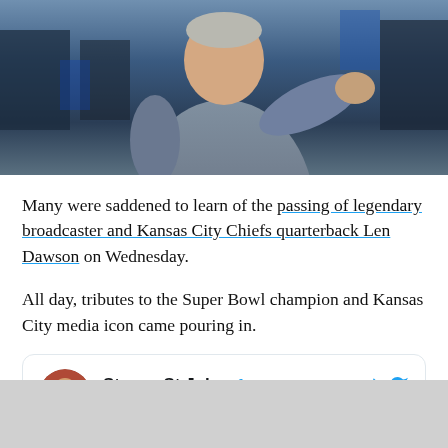[Figure (photo): A man in a gray/blue jacket pointing outward, photographed against a dark stadium background with blue and dark tones.]
Many were saddened to learn of the passing of legendary broadcaster and Kansas City Chiefs quarterback Len Dawson on Wednesday.
All day, tributes to the Super Bowl champion and Kansas City media icon came pouring in.
Steven St.John @SSJWHB · Follow